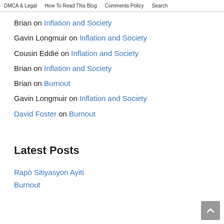DMCA & Legal   How To Read This Blog   Comments Policy   Search
Brian on Inflation and Society
Gavin Longmuir on Inflation and Society
Cousin Eddie on Inflation and Society
Brian on Inflation and Society
Brian on Burnout
Gavin Longmuir on Inflation and Society
David Foster on Burnout
Latest Posts
Rapò Sitiyasyon Ayiti
Burnout